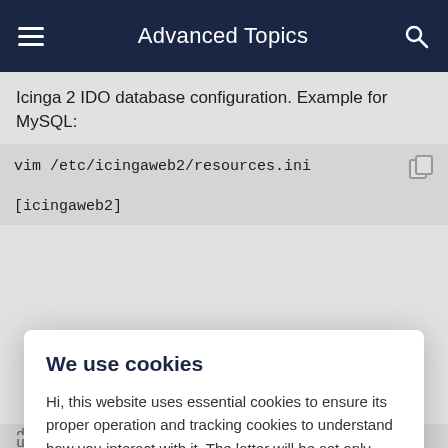Advanced Topics
Icinga 2 IDO database configuration. Example for MySQL:
vim /etc/icingaweb2/resources.ini
[icingaweb2]
We use cookies
Hi, this website uses essential cookies to ensure its proper operation and tracking cookies to understand how you interact with it. The latter will be set only after consent. Read in detail
Accept all
Reject all
dbname                          icinga
username